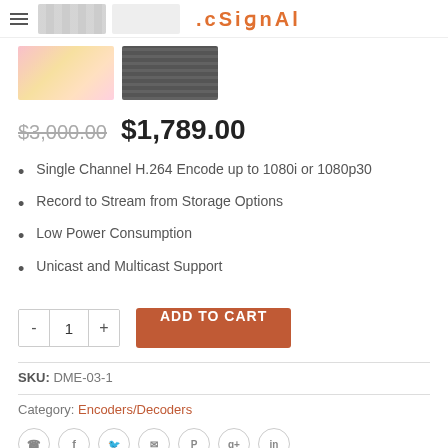[Figure (screenshot): Partial navigation bar with hamburger menu icon and partial orange logo text at top]
[Figure (photo): Two product thumbnail images: one colorful gradient image and one dark gray image with text]
$3,000.00  $1,789.00
Single Channel H.264 Encode up to 1080i or 1080p30
Record to Stream from Storage Options
Low Power Consumption
Unicast and Multicast Support
ADD TO CART
SKU: DME-03-1
Category: Encoders/Decoders
[Figure (other): Row of social media icon circles (telephone, Facebook, Twitter, email, Pinterest, Google+, LinkedIn)]